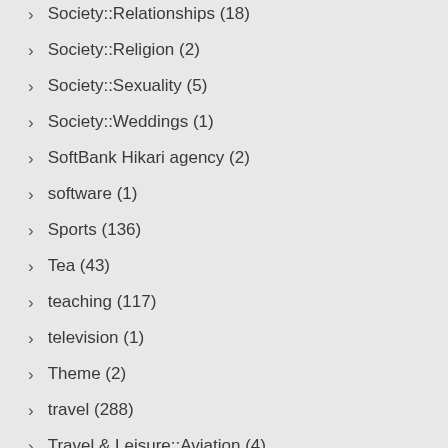Society::Relationships (18)
Society::Religion (2)
Society::Sexuality (5)
Society::Weddings (1)
SoftBank Hikari agency (2)
software (1)
Sports (136)
Tea (43)
teaching (117)
television (1)
Theme (2)
travel (288)
Travel & Leisure::Aviation (4)